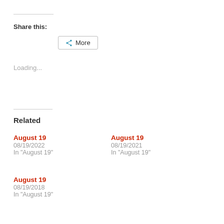Share this:
More
Loading...
Related
August 19
08/19/2022
In "August 19"
August 19
08/19/2021
In "August 19"
August 19
08/19/2018
In "August 19"